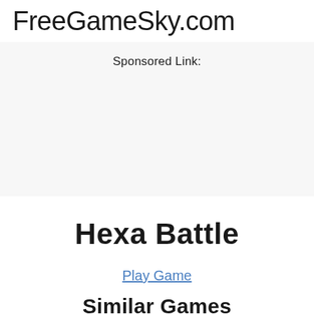FreeGameSky.com
Sponsored Link:
Hexa Battle
Play Game
Similar Games